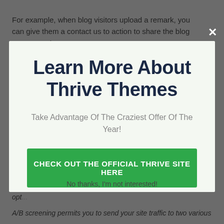For example, when blog visitors upload a remark, you can give them a contact us to action to share the blog post or opt-in to
[Figure (screenshot): Modal popup overlay with light green background. Contains heading 'Learn More About Thrive Themes', subtext 'Take Advantage Of The Craziest Offer Of The Year!', a green CTA button 'CHECK OUT THE OFFICIAL THRIVE SITE HERE', and a close X button in the top right corner.]
Thrive Optimize is created to allow you A/B test the pages on your site so you can opt...
No thanks, I'm not interested!
A/B screening permits you to send your site traffic to two various...